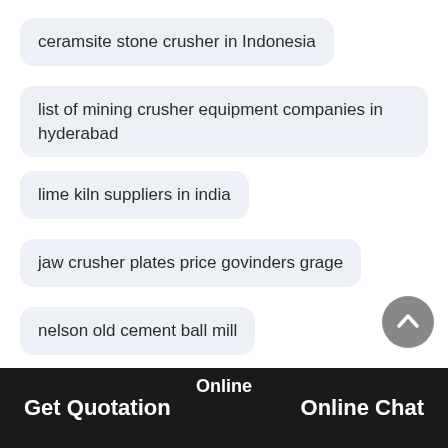ceramsite stone crusher in Indonesia
list of mining crusher equipment companies in hyderabad
lime kiln suppliers in india
jaw crusher plates price govinders grage
nelson old cement ball mill
iron and steel vision 2020
gold mines in south africa
Online   Get Quotation   Online Chat